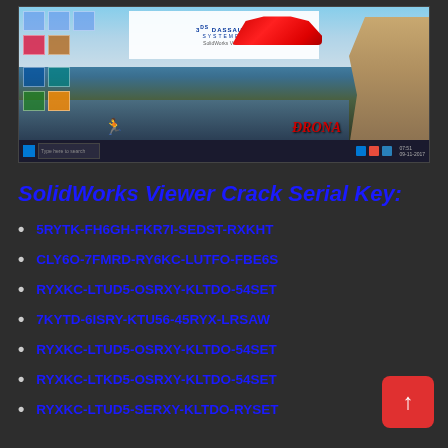[Figure (screenshot): Screenshot of a Windows desktop with SolidWorks/Dassault Systemes branding, a red sports car, beach/rock landscape wallpaper, desktop icons, and DRONA watermark in red italic text. Windows taskbar visible at bottom.]
SolidWorks Viewer Crack Serial Key:
5RYTK-FH6GH-FKR7I-SEDST-RXKHT
CLY6O-7FMRD-RY6KC-LUTFO-FBE6S
RYXKC-LTUD5-OSRXY-KLTDO-54SET
7KYTD-6ISRY-KTU56-45RYX-LRSAW
RYXKC-LTUD5-OSRXY-KLTDO-54SET
RYXKC-LTKD5-OSRXY-KLTDO-54SET
RYXKC-LTUD5-SERXY-KLTDO-RYSET